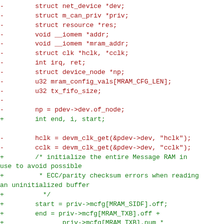Code diff showing removed lines (red, prefixed with -) and added lines (green, prefixed with +) for a C kernel driver source file involving struct declarations and Message RAM initialization.